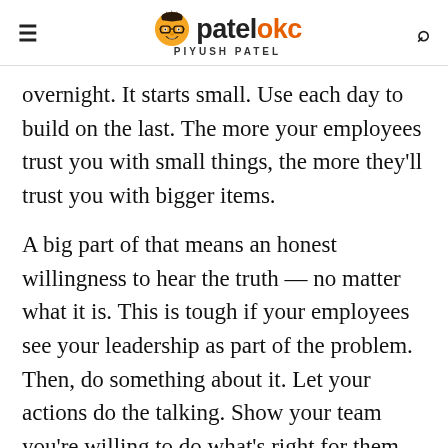patelokc PIYUSH PATEL
overnight. It starts small. Use each day to build on the last. The more your employees trust you with small things, the more they’ll trust you with bigger items.
A big part of that means an honest willingness to hear the truth — no matter what it is. This is tough if your employees see your leadership as part of the problem. Then, do something about it. Let your actions do the talking. Show your team you’re willing to do what’s right for them,